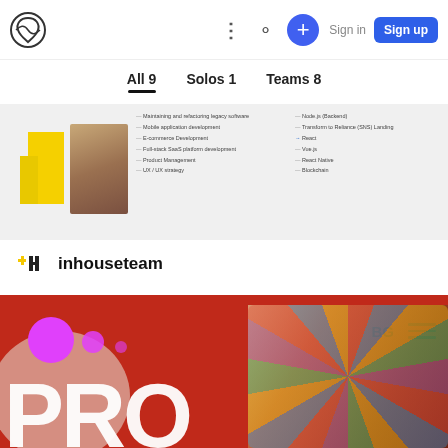Navigation bar with logo, menu dots, search, plus button, Sign in, Sign up
All 9   Solos 1   Teams 8
[Figure (screenshot): Card showing team skills list with two columns of bullet points including: Maintaining and refactoring legacy software, Mobile application development, E-commerce Development, Full-stack SaaS platform development, Product Management, UX/UI strategy, Node.js (Backend), Transform to Reliance (SNS) Landing, React, Vue.js, React Native, Blockchain]
inhouseteam
[Figure (photo): Red background card with large white 'PRO' text, magenta circles (pink dots), BG label, hamburger menu lines, and colorful abstract photo on right side]